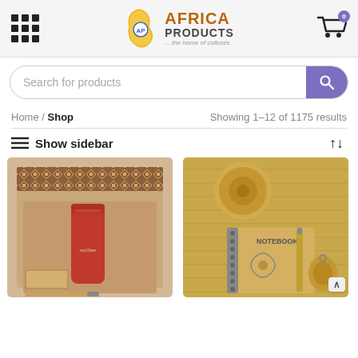[Figure (logo): Africa Products logo with Africa continent outline and 'AP' icon, orange AFRICA text, dark PRODUCTS text, tagline '...the home of cultures']
[Figure (screenshot): Search bar with 'Search for products' placeholder and purple search button]
Home / Shop
Showing 1–12 of 1175 results
≡ Show sidebar
[Figure (photo): Gift set box containing a red thermos flask, wooden USB drive, pen, and card holder with African pattern decoration]
[Figure (photo): Bamboo notebook set with pen, round bamboo container, and wooden keychain on wooden surface]